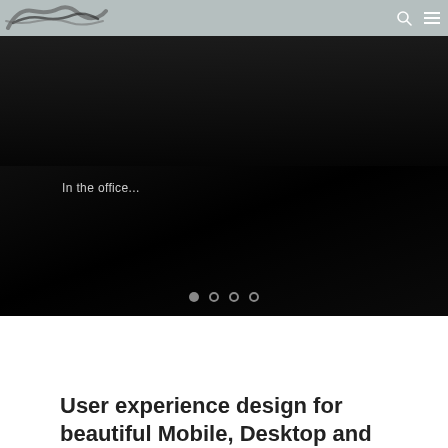[Figure (photo): Mostly black hero/slider image with faint dark background; text overlay reads 'In the office...' with four slider navigation dots at the bottom (first dot filled/active, three empty circles)]
User experience design for beautiful Mobile, Desktop and